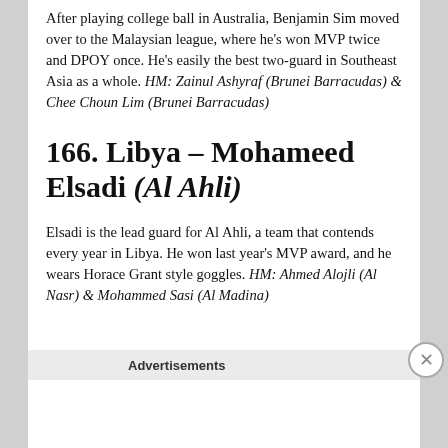After playing college ball in Australia, Benjamin Sim moved over to the Malaysian league, where he's won MVP twice and DPOY once. He's easily the best two-guard in Southeast Asia as a whole. HM: Zainul Ashyraf (Brunei Barracudas) & Chee Choun Lim (Brunei Barracudas)
166. Libya – Mohameed Elsadi (Al Ahli)
Elsadi is the lead guard for Al Ahli, a team that contends every year in Libya. He won last year's MVP award, and he wears Horace Grant style goggles. HM: Ahmed Alojli (Al Nasr) & Mohammed Sasi (Al Madina)
Advertisements